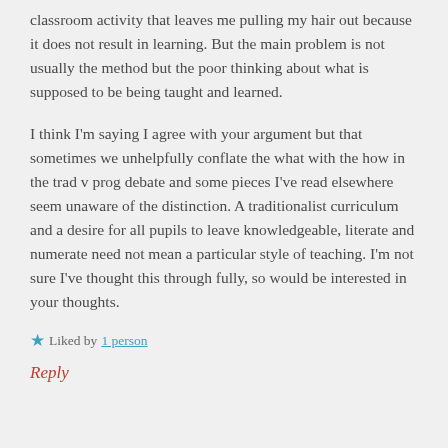classroom activity that leaves me pulling my hair out because it does not result in learning. But the main problem is not usually the method but the poor thinking about what is supposed to be being taught and learned.
I think I'm saying I agree with your argument but that sometimes we unhelpfully conflate the what with the how in the trad v prog debate and some pieces I've read elsewhere seem unaware of the distinction. A traditionalist curriculum and a desire for all pupils to leave knowledgeable, literate and numerate need not mean a particular style of teaching. I'm not sure I've thought this through fully, so would be interested in your thoughts.
★ Liked by 1 person
Reply